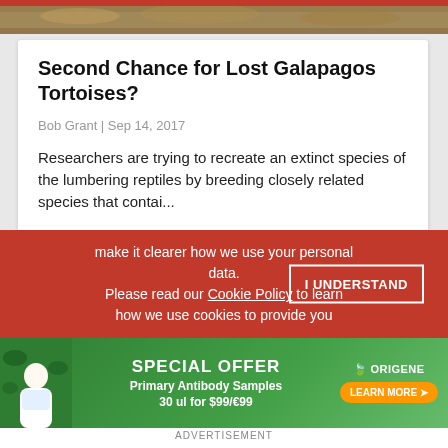[Figure (photo): Top hero image strip showing natural scenery]
Second Chance for Lost Galapagos Tortoises?
Bob Grant | Sep 14, 2017
Researchers are trying to recreate an extinct species of the lumbering reptiles by breeding closely related species that contai...
Lonesome George Dies Alone
make it clearer how we use your personal data.
Please read our Cookie Policy to learn how we use cookies to provide you
I UNDERSTAND
[Figure (infographic): OriGene Special Offer advertisement - Primary Antibody Samples 30 ul for $99/€99]
ADVERTISEMENT